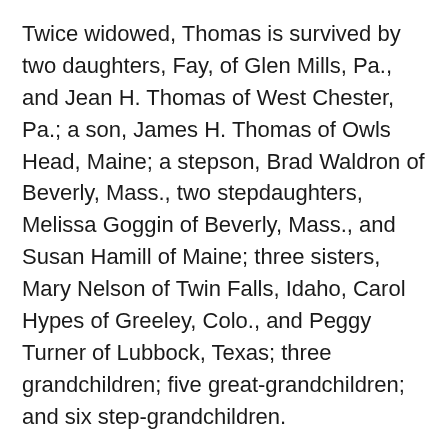Twice widowed, Thomas is survived by two daughters, Fay, of Glen Mills, Pa., and Jean H. Thomas of West Chester, Pa.; a son, James H. Thomas of Owls Head, Maine; a stepson, Brad Waldron of Beverly, Mass., two stepdaughters, Melissa Goggin of Beverly, Mass., and Susan Hamill of Maine; three sisters, Mary Nelson of Twin Falls, Idaho, Carol Hypes of Greeley, Colo., and Peggy Turner of Lubbock, Texas; three grandchildren; five great-grandchildren; and six step-grandchildren.
A remembrance was held at the family home. Expressions of sympathy may be sent to Fay Bakhru, P.O. Box 1005, Glen Mills, PA 19342. Donations may be sent to Foxdale Community Fund, 500 E. Marylyn